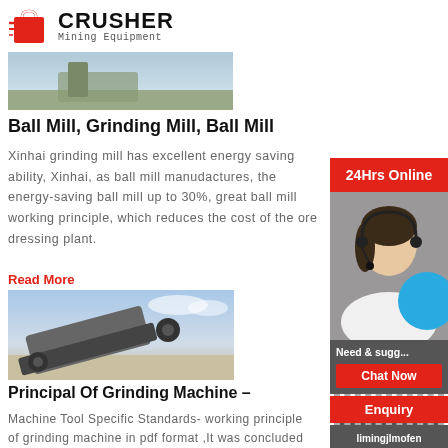[Figure (logo): Crusher Mining Equipment logo with red shopping bag icon and bold CRUSHER text]
[Figure (photo): Top portion of a machinery/grinding mill image]
Ball Mill, Grinding Mill, Ball Mill
Xinhai grinding mill has excellent energy saving ability, Xinhai, as ball mill manudactures, the energy-saving ball mill up to 30%, great ball mill working principle, which reduces the cost of the ore dressing plant.
Read More
[Figure (photo): Industrial grinding machine / principal of grinding machine photo showing large machinery outdoors]
Principal Of Grinding Machine –
Machine Tool Specific Standards- working principle of grinding machine in pdf format ,It was concluded additional work on a commercial flour mill neede
[Figure (photo): Sidebar: 24Hrs Online banner, customer service representative with headset, chat now button, enquiry section, email limingjlmofen@sina.com]